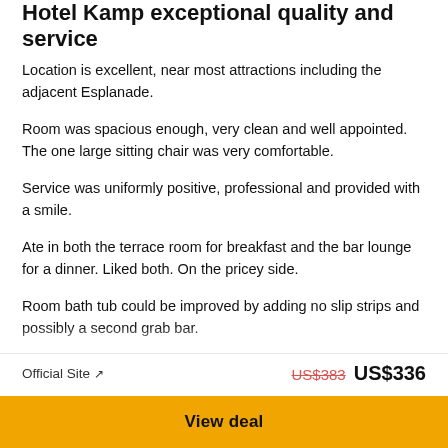Hotel Kamp exceptional quality and service
Location is excellent, near most attractions including the adjacent Esplanade.
Room was spacious enough, very clean and well appointed. The one large sitting chair was very comfortable.
Service was uniformly positive, professional and provided with a smile.
Ate in both the terrace room for breakfast and the bar lounge for a dinner. Liked both. On the pricey side.
Room bath tub could be improved by adding no slip strips and possibly a second grab bar.
Date of stay: August 2019
Trip type: Travelled as a couple
1 Thank raeloal
Official Site ↗   US$383  US$336
View deal